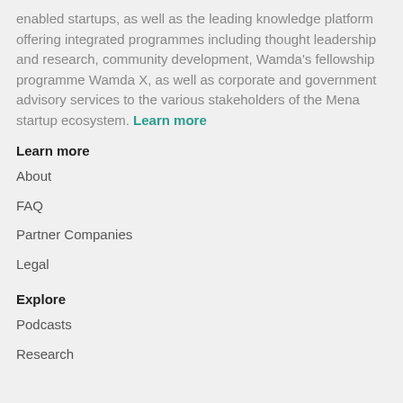enabled startups, as well as the leading knowledge platform offering integrated programmes including thought leadership and research, community development, Wamda's fellowship programme Wamda X, as well as corporate and government advisory services to the various stakeholders of the Mena startup ecosystem. Learn more
Learn more
About
FAQ
Partner Companies
Legal
Explore
Podcasts
Research